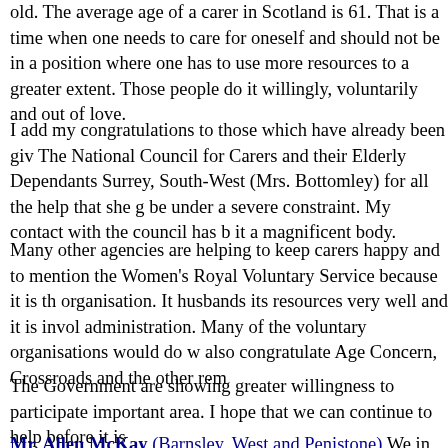old. The average age of a carer in Scotland is 61. That is a time when one needs to care for oneself and should not be in a position where one has to use more resources to a greater extent. Those people do it willingly, voluntarily and out of love.
I add my congratulations to those which have already been given to the chairman of The National Council for Carers and their Elderly Dependants and to the hon. Member for Surrey, South-West (Mrs. Bottomley) for all the help that she gives to a body that must be under a severe constraint. My contact with the council has been good and I regard it a magnificent body.
Many other agencies are helping to keep carers happy and to relieve them. I must mention the Women's Royal Voluntary Service because it is the most remarkable organisation. It husbands its resources very well and it is involved in much of the administration. Many of the voluntary organisations would do well to emulate it. I also congratulate Age Concern, Crossroads and the other rem
The Government are showing greater willingness to participate and assist in this important area. I hope that we can continue to help before it is
Mr. Allen McKay (Barnsley, West and Penistone) We in the H about to book holidays, if they are not already booked. We are household pets in places where they will be looked after or w